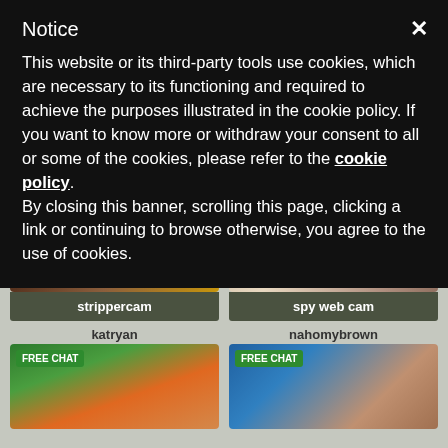Notice
This website or its third-party tools use cookies, which are necessary to its functioning and required to achieve the purposes illustrated in the cookie policy. If you want to know more or withdraw your consent to all or some of the cookies, please refer to the cookie policy.
By closing this banner, scrolling this page, clicking a link or continuing to browse otherwise, you agree to the use of cookies.
[Figure (photo): Photo of woman in gold glittery outfit lying down, dark hair]
strippercam
katryan
[Figure (photo): Photo of woman lying on white bed, dark lingerie]
spy web cam
nahomybrown
[Figure (photo): Photo of woman with orange/red hair outdoors, FREE CHAT badge]
[Figure (photo): Photo of woman in pool setting, FREE CHAT badge]